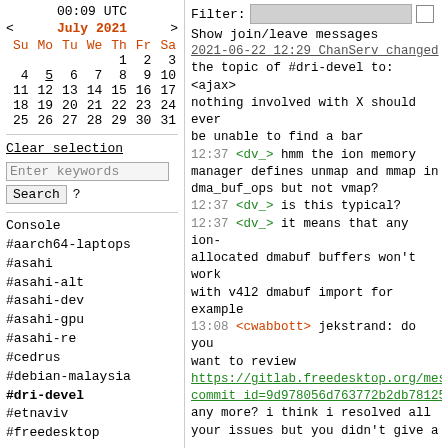00:09 UTC
< July 2021 >
| Su | Mo | Tu | We | Th | Fr | Sa |
| --- | --- | --- | --- | --- | --- | --- |
|  |  |  |  | 1 | 2 | 3 |
| 4 | 5 | 6 | 7 | 8 | 9 | 10 |
| 11 | 12 | 13 | 14 | 15 | 16 | 17 |
| 18 | 19 | 20 | 21 | 22 | 23 | 24 |
| 25 | 26 | 27 | 28 | 29 | 30 | 31 |
Clear selection
Enter keywords
Search ?
Console
#aarch64-laptops
#asahi
#asahi-alt
#asahi-dev
#asahi-gpu
#asahi-re
#cedrus
#debian-malaysia
#dri-devel
#etnaviv
#freedesktop
Filter:
Show join/leave messages
2021-06-22 12:29 ChanServ changed the topic of #dri-devel to: <ajax> nothing involved with X should ever be unable to find a bar
12:37 <dv_> hmm the ion memory manager defines unmap and mmap in dma_buf_ops but not vmap?
12:37 <dv_> is this typical?
12:37 <dv_> it means that any ion-allocated dmabuf buffers won't work with v4l2 dmabuf import for example
13:08 <cwabbott> jekstrand: do you want to review https://gitlab.freedesktop.org/mesa/m commit_id=9d978056d763772b2db78125fba any more? i think i resolved all your issues but you didn't give a r-b for it
13:09 <cwabbott> otherwise than that I think it's ready to land
13:11 <HdkR> Oh! Someone actually has a subgroup size of 128 now? Exciting!
13:16 <cwabbott> well, newer qcom blobs also seem to have support for